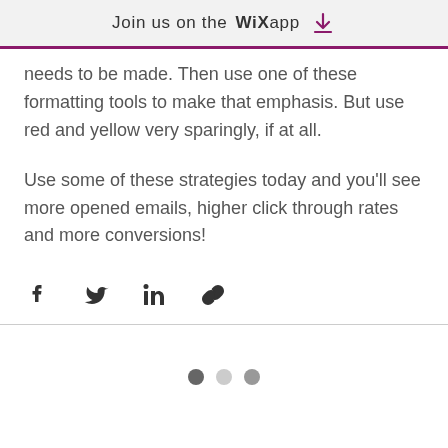Join us on the WiX app
needs to be made. Then use one of these formatting tools to make that emphasis. But use red and yellow very sparingly, if at all.
Use some of these strategies today and you’ll see more opened emails, higher click through rates and more conversions!
[Figure (infographic): Social share icons: Facebook, Twitter, LinkedIn, and a link/chain icon]
[Figure (infographic): Page navigation dots: three dots, first dark, second light, third medium gray]